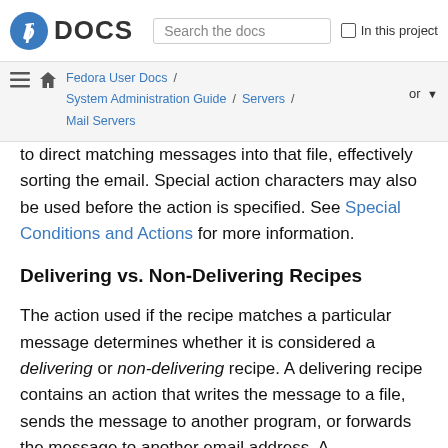DOCS | Search the docs | In this project
Fedora User Docs / System Administration Guide / Servers / Mail Servers
to direct matching messages into that file, effectively sorting the email. Special action characters may also be used before the action is specified. See Special Conditions and Actions for more information.
Delivering vs. Non-Delivering Recipes
The action used if the recipe matches a particular message determines whether it is considered a delivering or non-delivering recipe. A delivering recipe contains an action that writes the message to a file, sends the message to another program, or forwards the message to another email address. A